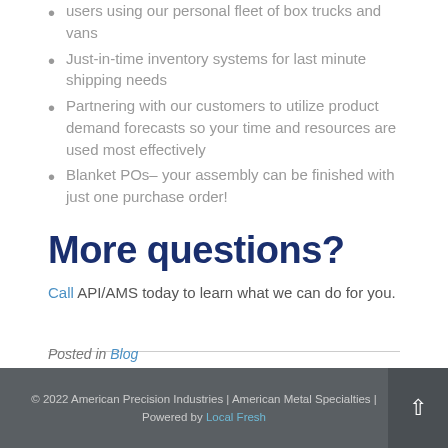users using our personal fleet of box trucks and vans
Just-in-time inventory systems for last minute shipping needs
Partnering with our customers to utilize product demand forecasts so your time and resources are used most effectively
Blanket POs– your assembly can be finished with just one purchase order!
More questions?
Call API/AMS today to learn what we can do for you.
Posted in Blog
© 2022 American Precision Industries | American Metal Specialties | Powered by Local Fresh